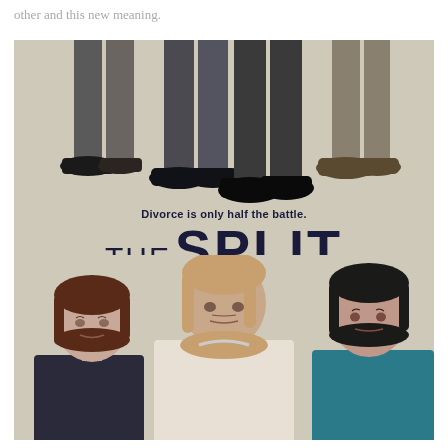other and this new meaning.
[Figure (photo): Promotional poster for 'The Split' TV series on Sundance TV. Top half shows legs and shoes of men in suits. Middle shows tagline 'Divorce is only half the battle.' and title 'THE SPLIT' with 'SERIES PREMIERE MAY 23 10/9c SUNDANCE TV'. Bottom half shows three women looking seriously at camera.]